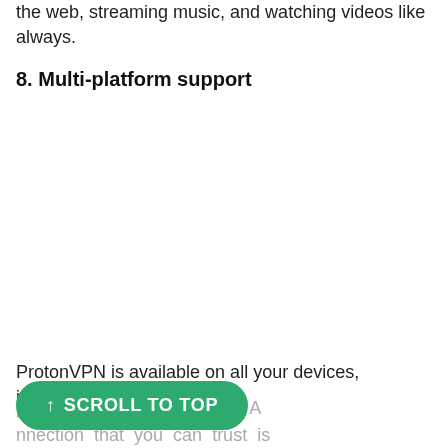the web, streaming music, and watching videos like always.
8. Multi-platform support
ProtonVPN is available on all your devices, including
phones, and even routers. A nnection that you can trust is
↑ SCROLL TO TOP